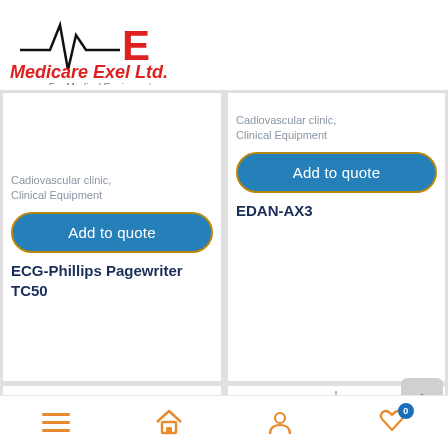[Figure (logo): Medicare Exel Ltd. logo — ECG waveform graphic with red letter E, red italic text 'Medicare Exel Ltd.' and gray italic subtitle 'For Medical Equipment']
Cadiovascular clinic,
Clinical Equipment
Add to quote
ECG-Phillips Pagewriter TC50
Cadiovascular clinic,
Clinical Equipment
Add to quote
EDAN-AX3
[Figure (photo): Medical equipment product image (bottom left card), white device on stand]
[Figure (photo): Medical equipment product image (bottom right card), white device]